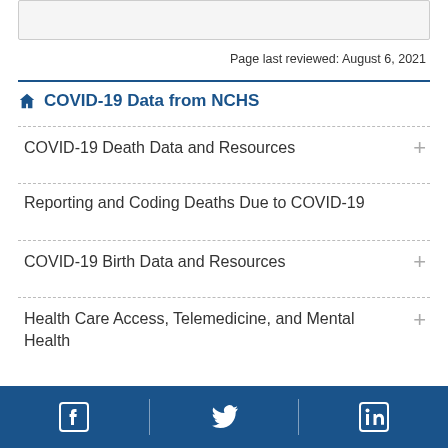Page last reviewed: August 6, 2021
COVID-19 Data from NCHS
COVID-19 Death Data and Resources
Reporting and Coding Deaths Due to COVID-19
COVID-19 Birth Data and Resources
Health Care Access, Telemedicine, and Mental Health
Facebook | Twitter | LinkedIn